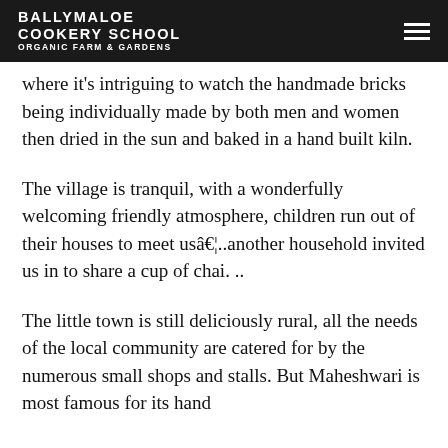BALLYMALOE COOKERY SCHOOL ORGANIC FARM & GARDENS
where it’s intriguing to watch the handmade bricks being individually made by both men and women then dried in the sun and baked in a hand built kiln.
The village is tranquil, with a wonderfully welcoming friendly atmosphere, children run out of their houses to meet usâ€¦..another household invited us in to share a cup of chai. ..
The little town is still deliciously rural, all the needs of the local community are catered for by the numerous small shops and stalls. But Maheshwari is most famous for its hand